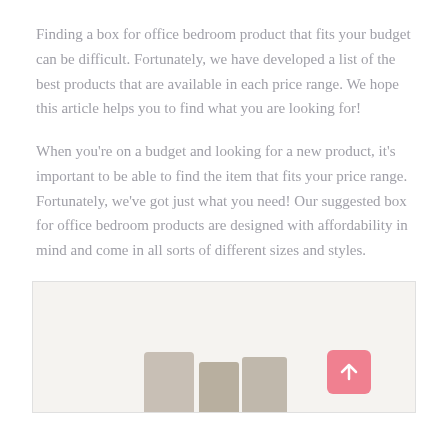Finding a box for office bedroom product that fits your budget can be difficult. Fortunately, we have developed a list of the best products that are available in each price range. We hope this article helps you to find what you are looking for!
When you're on a budget and looking for a new product, it's important to be able to find the item that fits your price range. Fortunately, we've got just what you need! Our suggested box for office bedroom products are designed with affordability in mind and come in all sorts of different sizes and styles.
[Figure (photo): A partially visible product photo inside a bordered box, showing what appears to be bedroom or office products on a light background. A pink scroll-to-top button is visible in the lower right.]